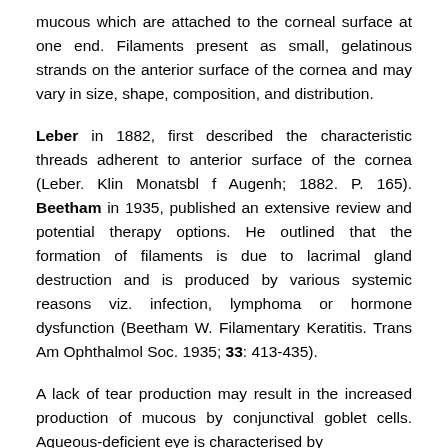mucous which are attached to the corneal surface at one end. Filaments present as small, gelatinous strands on the anterior surface of the cornea and may vary in size, shape, composition, and distribution.
Leber in 1882, first described the characteristic threads adherent to anterior surface of the cornea (Leber. Klin Monatsbl f Augenh; 1882. P. 165). Beetham in 1935, published an extensive review and potential therapy options. He outlined that the formation of filaments is due to lacrimal gland destruction and is produced by various systemic reasons viz. infection, lymphoma or hormone dysfunction (Beetham W. Filamentary Keratitis. Trans Am Ophthalmol Soc. 1935; 33: 413-435).
A lack of tear production may result in the increased production of mucous by conjunctival goblet cells. Aqueous-deficient eye is characterised by